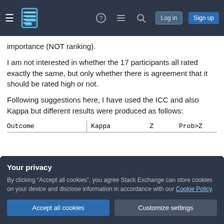Stack Exchange navigation bar with Log in and Sign up buttons
importance (NOT ranking).
I am not interested in whether the 17 participants all rated exactly the same, but only whether there is agreement that it should be rated high or not.
Following suggestions here, I have used the ICC and also Kappa but different results were produced as follows:
| Outcome | Kappa | Z | Prob>Z |
| --- | --- | --- | --- |
Your privacy
By clicking "Accept all cookies", you agree Stack Exchange can store cookies on your device and disclose information in accordance with our Cookie Policy.
Accept all cookies
Customize settings